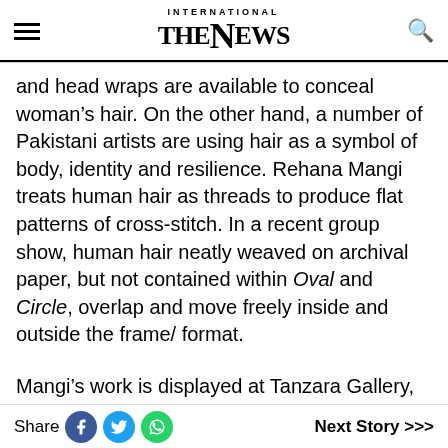INTERNATIONAL THE NEWS
and head wraps are available to conceal woman’s hair. On the other hand, a number of Pakistani artists are using hair as a symbol of body, identity and resilience. Rehana Mangi treats human hair as threads to produce flat patterns of cross-stitch. In a recent group show, human hair neatly weaved on archival paper, but not contained within Oval and Circle, overlap and move freely inside and outside the frame/ format.
Mangi’s work is displayed at Tanzara Gallery, which is “bringing together 13 renowned female artists showcasing their take on Eve in
Share   Next Story >>>